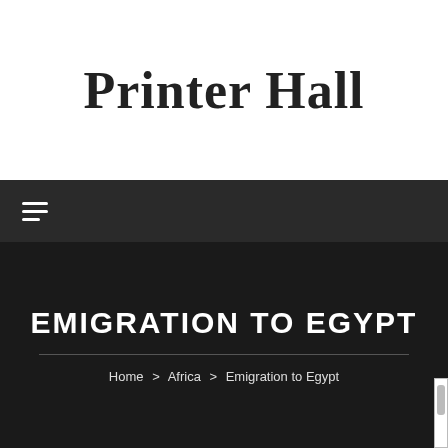Printer Hall
[Figure (screenshot): Navigation bar with hamburger menu icon on dark background]
EMIGRATION TO EGYPT
Home > Africa > Emigration to Egypt
[Figure (photo): Three partially visible photos at the bottom: people silhouetted outdoors, rocky cliff face with blue sky, and carved stone relief]